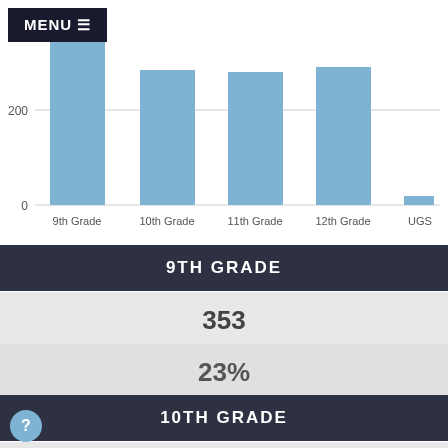[Figure (bar-chart): Students by Grade]
9TH GRADE
353
23%
10TH GRADE
268